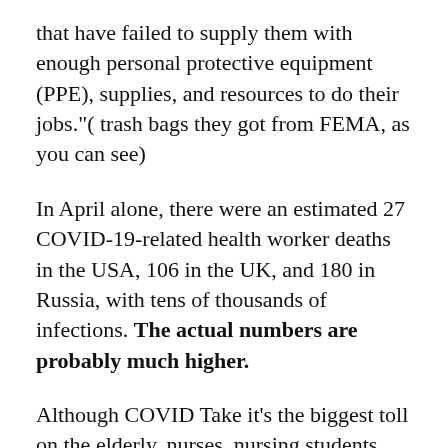that have failed to supply them with enough personal protective equipment (PPE), supplies, and resources to do their jobs."(trash bags they got from FEMA, as you can see)
In April alone, there were an estimated 27 COVID-19-related health worker deaths in the USA, 106 in the UK, and 180 in Russia, with tens of thousands of infections. The actual numbers are probably much higher.
Although COVID Take it's the biggest toll on the elderly, nurses, nursing students, and nurses aides at hard-hit nursing homes caring for the elderly, die young of COVID.